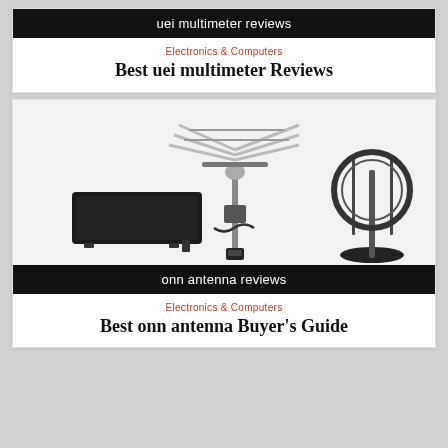uei multimeter reviews
Electronics & Computers
Best uei multimeter Reviews
[Figure (photo): Collage of TV antennas including a flat indoor antenna on the left, an outdoor rotatable antenna in the center-top, accessories/cables below it, and a circular indoor antenna with stand on the right]
onn antenna reviews
Electronics & Computers
Best onn antenna Buyer's Guide